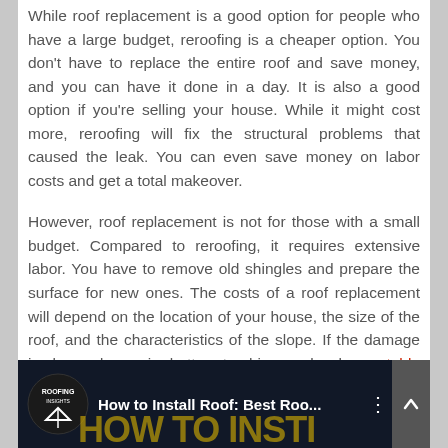While roof replacement is a good option for people who have a large budget, reroofing is a cheaper option. You don't have to replace the entire roof and save money, and you can have it done in a day. It is also a good option if you're selling your house. While it might cost more, reroofing will fix the structural problems that caused the leak. You can even save money on labor costs and get a total makeover.
However, roof replacement is not for those with a small budget. Compared to reroofing, it requires extensive labor. You have to remove old shingles and prepare the surface for new ones. The costs of a roof replacement will depend on the location of your house, the size of the roof, and the characteristics of the slope. If the damage is beyond repair better to hire a local reputable McKinney roofing company in your area.
[Figure (screenshot): Video thumbnail for 'How to Install Roof: Best Roo...' with Roofing Insights logo and a person visible]